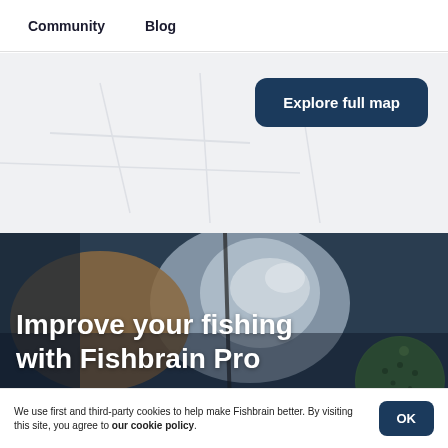Community   Blog
[Figure (map): Grey map area background for Fishbrain fishing map]
Explore full map
[Figure (photo): Close-up photo of a fish being caught with splashing water, person wearing a green fishing cap]
Improve your fishing with Fishbrain Pro
We use first and third-party cookies to help make Fishbrain better. By visiting this site, you agree to our cookie policy.
OK